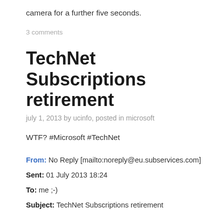camera for a further five seconds.
3 comments
TechNet Subscriptions retirement
july 1, 2013 by ucinfo, posted in microsoft
WTF? #Microsoft #TechNet
From: No Reply [mailto:noreply@eu.subservices.com]
Sent: 01 July 2013 18:24
To: me ;-)
Subject: TechNet Subscriptions retirement